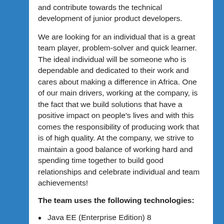and contribute towards the technical development of junior product developers.
We are looking for an individual that is a great team player, problem-solver and quick learner. The ideal individual will be someone who is dependable and dedicated to their work and cares about making a difference in Africa. One of our main drivers, working at the company, is the fact that we build solutions that have a positive impact on people's lives and with this comes the responsibility of producing work that is of high quality. At the company, we strive to maintain a good balance of working hard and spending time together to build good relationships and celebrate individual and team achievements!
The team uses the following technologies:
Java EE (Enterprise Edition) 8
EJB, JMS, JDBC, JNDI
Glassfish 4.1.1 & 5